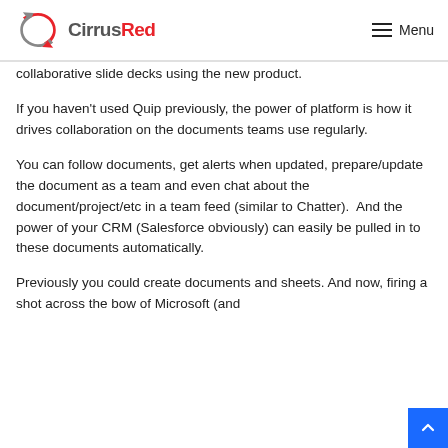CirrusRed — Menu
collaborative slide decks using the new product.
If you haven't used Quip previously, the power of platform is how it drives collaboration on the documents teams use regularly.
You can follow documents, get alerts when updated, prepare/update the document as a team and even chat about the document/project/etc in a team feed (similar to Chatter).  And the power of your CRM (Salesforce obviously) can easily be pulled in to these documents automatically.
Previously you could create documents and sheets. And now, firing a shot across the bow of Microsoft (and